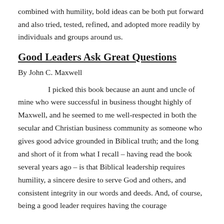combined with humility, bold ideas can be both put forward and also tried, tested, refined, and adopted more readily by individuals and groups around us.
Good Leaders Ask Great Questions
By John C. Maxwell
I picked this book because an aunt and uncle of mine who were successful in business thought highly of Maxwell, and he seemed to me well-respected in both the secular and Christian business community as someone who gives good advice grounded in Biblical truth; and the long and short of it from what I recall – having read the book several years ago – is that Biblical leadership requires humility, a sincere desire to serve God and others, and consistent integrity in our words and deeds. And, of course, being a good leader requires having the courage